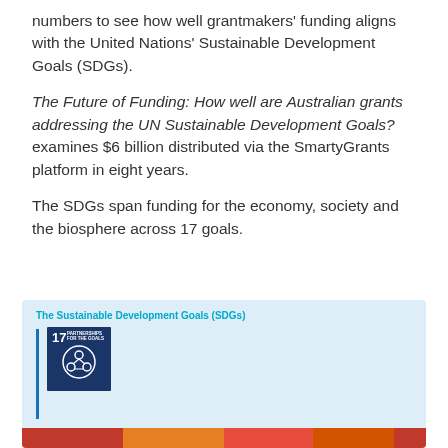numbers to see how well grantmakers' funding aligns with the United Nations' Sustainable Development Goals (SDGs).
The Future of Funding: How well are Australian grants addressing the UN Sustainable Development Goals? examines $6 billion distributed via the SmartyGrants platform in eight years.
The SDGs span funding for the economy, society and the biosphere across 17 goals.
[Figure (infographic): Infographic panel titled 'The Sustainable Development Goals (SDGs)' on a light blue background, showing SDG 17 icon (Partnerships for the Goals) in dark navy blue with the goal number and a circular symbol, alongside a vertical blue line marker, and a row of colored bar segments (red, orange, pink/red, orange) partially visible at the bottom.]